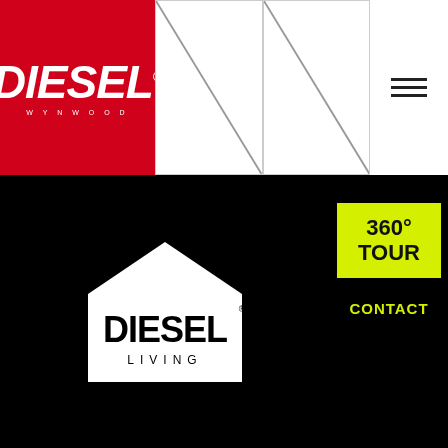[Figure (logo): Diesel Wynwood red logo with white italic DIESEL text and WYNWOOD underneath in spaced caps]
[Figure (photo): Two white image placeholder boxes with diagonal lines (broken image indicators)]
[Figure (logo): Hamburger menu icon: three horizontal lines]
[Figure (logo): Diesel Living house-shaped logo: white house outline with DIESEL and LIVING text inside, on black background]
360° TOUR
CONTACT